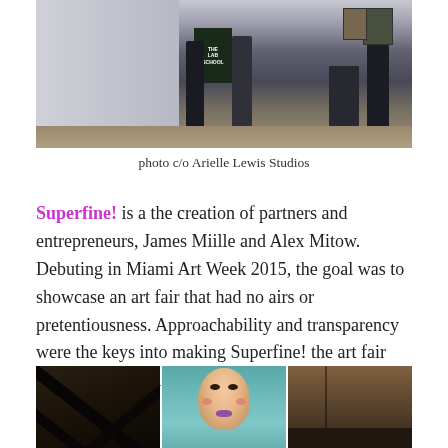[Figure (photo): Indoor art gallery scene with silhouettes of people standing, a sign reading 'THE LAB SCHOOL' visible in the background, artwork on walls]
photo c/o Arielle Lewis Studios
Superfine! is a the creation of partners and entrepreneurs, James Miille and Alex Mitow. Debuting in Miami Art Week 2015, the goal was to showcase an art fair that had no airs or pretentiousness. Approachability and transparency were the keys into making Superfine! the art fair that's for everyone to attend.
[Figure (photo): Three images side by side: left shows dark wooden cross beams, center shows a painting of a woman's face with colorful details on teal background, right shows another interior scene]